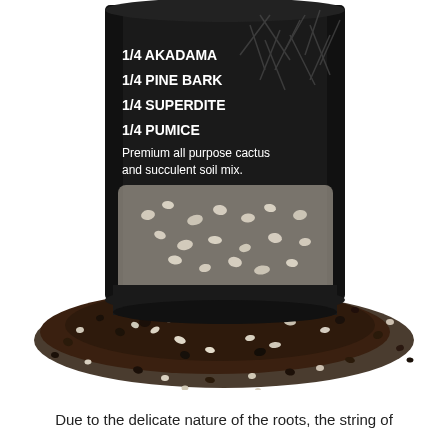[Figure (photo): A black mylar/foil standup pouch bag of cactus and succulent soil mix showing ingredient list: 1/4 AKADAMA, 1/4 PINE BARK, 1/4 SUPERDITE, 1/4 PUMICE, with text 'Premium all purpose cactus and succulent soil mix.' and a transparent window showing the gritty mineral mix inside. Below the bag, the soil mix — a combination of dark brown organic material, white pumice chunks, and tan/grey grit — is spilled out on a white background.]
Due to the delicate nature of the roots, the string of